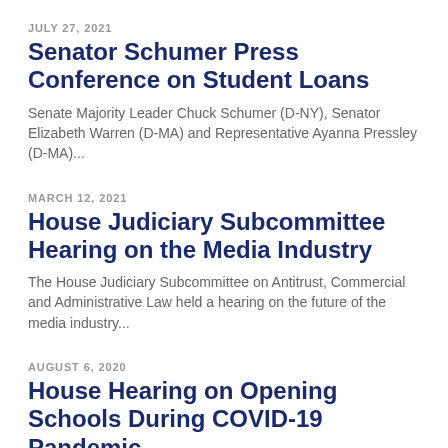JULY 27, 2021
Senator Schumer Press Conference on Student Loans
Senate Majority Leader Chuck Schumer (D-NY), Senator Elizabeth Warren (D-MA) and Representative Ayanna Pressley (D-MA)...
MARCH 12, 2021
House Judiciary Subcommittee Hearing on the Media Industry
The House Judiciary Subcommittee on Antitrust, Commercial and Administrative Law held a hearing on the future of the media industry...
AUGUST 6, 2020
House Hearing on Opening Schools During COVID-19 Pandemic
Former Obama administration Education Secretary Arne Duncan and other education officials testified before a